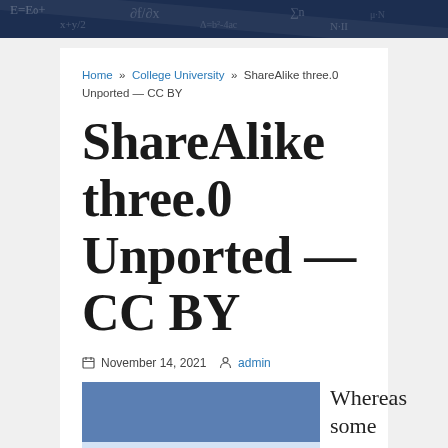[Figure (photo): Dark navy banner with chalk math equations and formulas in background]
Home » College University » ShareAlike three.0 Unported — CC BY
ShareAlike three.0 Unported — CC BY
November 14, 2021  admin
[Figure (photo): Infographic image with blue background showing Top Universities in Australia - Get your degree and save money!]
Whereas some scholars of